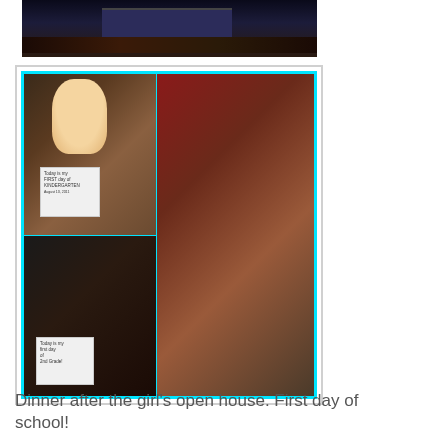[Figure (photo): Top portion of a photo showing what appears to be an indoor venue or restaurant with dark ambiance]
[Figure (photo): Collage of photos with cyan border showing two young girls on their first days of school. Top-left: girl holding sign 'Today is my FIRST day of KINDERGARTEN'. Bottom-left: girl holding sign 'Today is my first day of 2nd Grade!'. Right: two girls together, one in pink striped shirt, one in purple with backpack.]
Dinner after the girl's open house. First day of school!